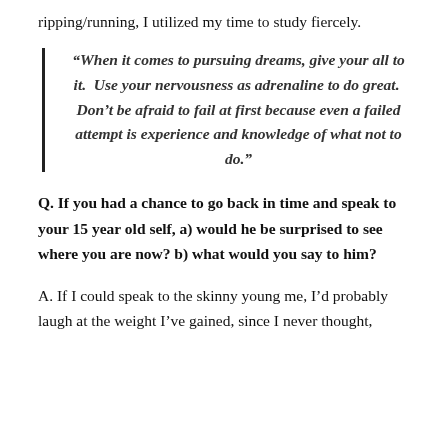ripping/running, I utilized my time to study fiercely.
“When it comes to pursuing dreams, give your all to it.  Use your nervousness as adrenaline to do great.  Don’t be afraid to fail at first because even a failed attempt is experience and knowledge of what not to do.”
Q. If you had a chance to go back in time and speak to your 15 year old self, a) would he be surprised to see where you are now? b) what would you say to him?
A. If I could speak to the skinny young me, I’d probably laugh at the weight I’ve gained, since I never thought,